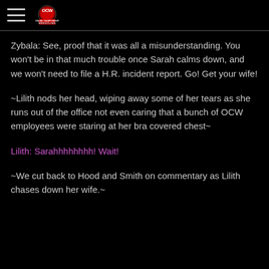OCW Online Championship Wrestling
Zybala: See, proof that it was all a misunderstanding. You won't be in that much trouble once Sarah calms down, and we won't need to file a H.R. incident report. Go! Get your wife!
~Lilith nods her head, wiping away some of her tears as she runs out of the office not even caring that a bunch of OCW employees were staring at her bra covered chest~
Lilith: Sarahhhhhhhh! Wait!
~We cut back to Hood and Smith on commentary as Lilith chases down her wife.~